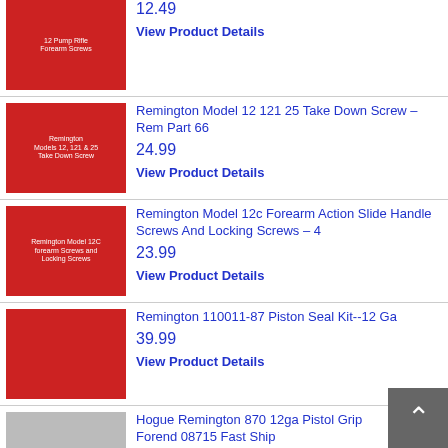[Figure (photo): Red background product image - pump rifle forearm screws]
12.49
View Product Details
[Figure (photo): Red background product image - Remington Models 12, 121 & 25 Take Down Screw]
Remington Model 12 121 25 Take Down Screw – Rem Part 66
24.99
View Product Details
[Figure (photo): Red background product image - Remington Model 12C forearm screws and locking screws]
Remington Model 12c Forearm Action Slide Handle Screws And Locking Screws – 4
23.99
View Product Details
[Figure (photo): Red background product image - piston seal kit parts]
Remington 110011-87 Piston Seal Kit--12 Ga
39.99
View Product Details
[Figure (photo): Gray/black product image - Hogue Remington 870 12ga pistol grip forend]
Hogue Remington 870 12ga Pistol Grip Forend 08715 Fast Ship
33.95